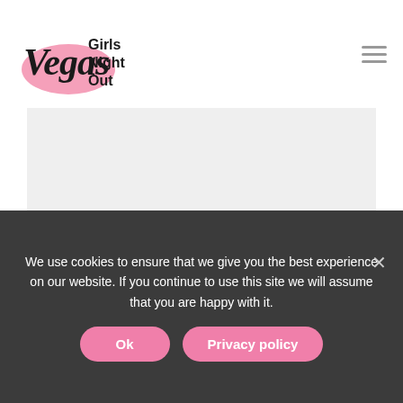[Figure (logo): Vegas Girls Night Out logo with pink blob background and bold script text 'Vegas' plus 'Girls Night Out' in bold sans-serif]
[Figure (photo): Large light gray placeholder/image area representing a photo on the article page]
This halved-size version of the famous Parisian
We use cookies to ensure that we give you the best experience on our website. If you continue to use this site we will assume that you are happy with it.